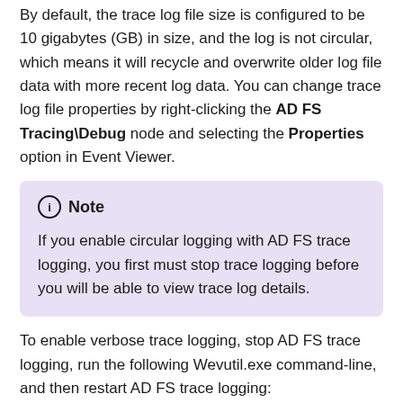By default, the trace log file size is configured to be 10 gigabytes (GB) in size, and the log is not circular, which means it will recycle and overwrite older log file data with more recent log data. You can change trace log file properties by right-clicking the AD FS Tracing\Debug node and selecting the Properties option in Event Viewer.
Note
If you enable circular logging with AD FS trace logging, you first must stop trace logging before you will be able to view trace log details.
To enable verbose trace logging, stop AD FS trace logging, run the following Wevutil.exe command-line, and then restart AD FS trace logging:
[Figure (screenshot): Code block footer showing a Copy button with icon]